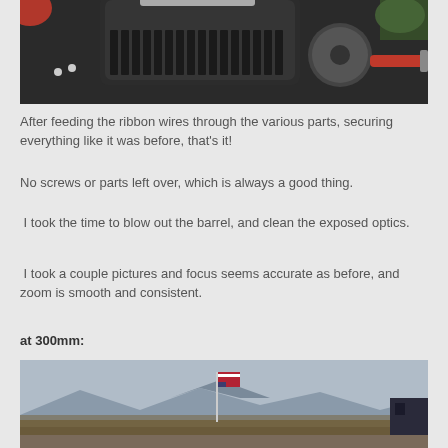[Figure (photo): Camera lens disassembled on a dark surface with screws and tools nearby]
After feeding the ribbon wires through the various parts, securing everything like it was before, that's it!
No screws or parts left over, which is always a good thing.
I took the time to blow out the barrel, and clean the exposed optics.
I took a couple pictures and focus seems accurate as before, and zoom is smooth and consistent.
at 300mm:
[Figure (photo): Landscape photo taken at 300mm showing an American flag, mountains, and trees in the background]